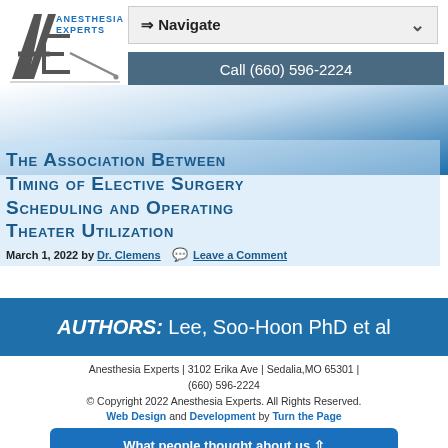[Figure (logo): Anesthesia Experts logo with stylized AE letters and needle graphic, with text ANESTHESIA EXPERTS]
⇒ Navigate
Call (660) 596-2224
The Association Between Timing of Elective Surgery Scheduling and Operating Theater Utilization
March 1, 2022 by Dr. Clemens   Leave a Comment
AUTHORS: Lee, Soo-Hoon PhD et al
Anesthesia Experts | 3102 Erika Ave | Sedalia,MO 65301 | (660) 596-2224
© Copyright 2022 Anesthesia Experts. All Rights Reserved.
Web Design and Development by Turn the Page Online Marketing
What people thought about us ⬆